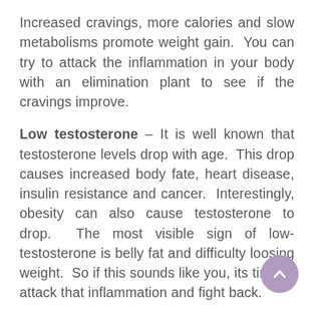Increased cravings, more calories and slow metabolisms promote weight gain.  You can try to attack the inflammation in your body with an elimination plant to see if the cravings improve.
Low testosterone – It is well known that testosterone levels drop with age.  This drop causes increased body fate, heart disease, insulin resistance and cancer.  Interestingly, obesity can also cause testosterone to drop.  The most visible sign of low-testosterone is belly fat and difficulty loosing weight.  So if this sounds like you, its time to attack that inflammation and fight back.
Insulin imbalance – Insulin resistance occ when the body is not able to absorb extra blood glucose and keeps generating more